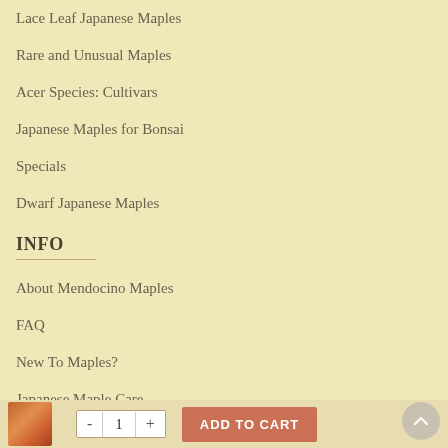Lace Leaf Japanese Maples
Rare and Unusual Maples
Acer Species: Cultivars
Japanese Maples for Bonsai
Specials
Dwarf Japanese Maples
INFO
About Mendocino Maples
FAQ
New To Maples?
Japanese Maple Care